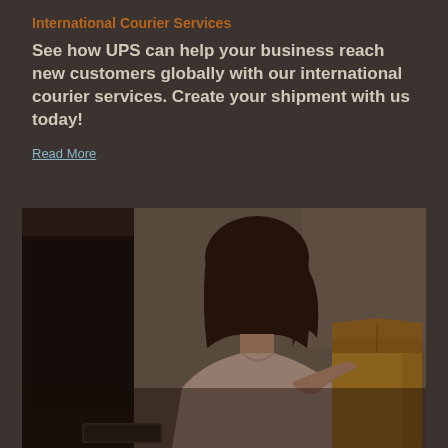International Courier Services
See how UPS can help your business reach new customers globally with our international courier services. Create your shipment with us today!
Read More
[Figure (photo): A woman with dark hair smiling, holding or standing near a brown cardboard box, with a dark monitor visible on the left side, in a dimly lit office or workspace setting.]